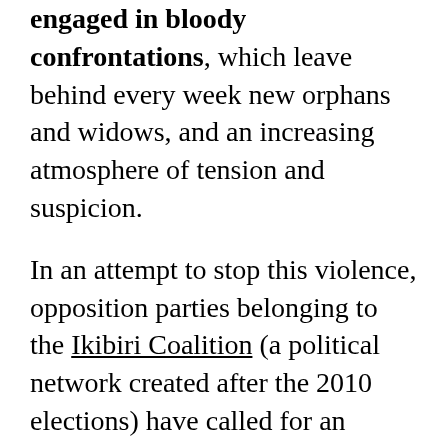engaged in bloody confrontations, which leave behind every week new orphans and widows, and an increasing atmosphere of tension and suspicion.
In an attempt to stop this violence, opposition parties belonging to the Ikibiri Coalition (a political network created after the 2010 elections) have called for an inclusive dialogue with all socio-political stakeholders. A similar appeal has been launched by civil society groups and diplomats in Bujumbura.
But this offer has been continuously rejected by the ruling party. On 13 June,